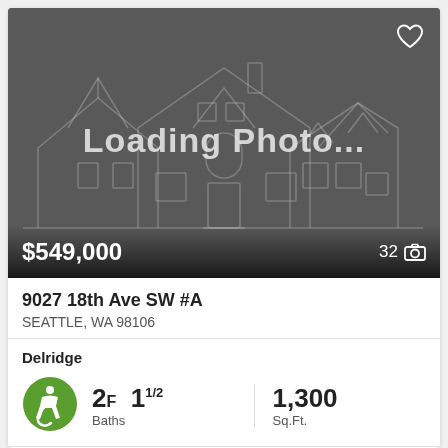[Figure (photo): Loading photo placeholder showing a house outline illustration on dark gray background with price $549,000 and photo count 32]
$549,000
32
9027 18th Ave SW #A
SEATTLE, WA 98106
Delridge
[Figure (logo): Green accessibility/wheelchair icon]
2F 11/2 Baths
1,300 Sq.Ft.